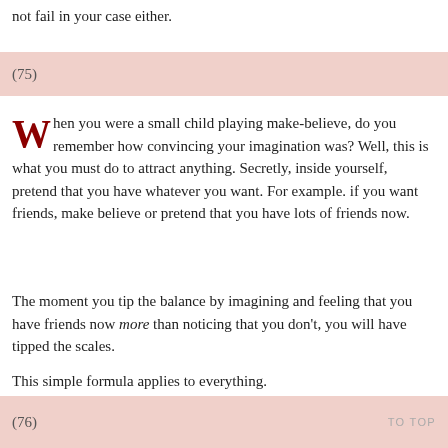not fail in your case either.
(75)
When you were a small child playing make-believe, do you remember how convincing your imagination was? Well, this is what you must do to attract anything. Secretly, inside yourself, pretend that you have whatever you want. For example. if you want friends, make believe or pretend that you have lots of friends now.
The moment you tip the balance by imagining and feeling that you have friends now more than noticing that you don't, you will have tipped the scales.
This simple formula applies to everything.
(76)